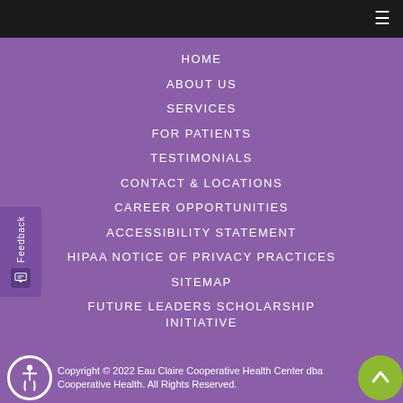≡ (hamburger menu icon)
HOME
ABOUT US
SERVICES
FOR PATIENTS
TESTIMONIALS
CONTACT & LOCATIONS
CAREER OPPORTUNITIES
ACCESSIBILITY STATEMENT
HIPAA NOTICE OF PRIVACY PRACTICES
SITEMAP
FUTURE LEADERS SCHOLARSHIP INITIATIVE
Copyright © 2022 Eau Claire Cooperative Health Center dba Cooperative Health. All Rights Reserved.